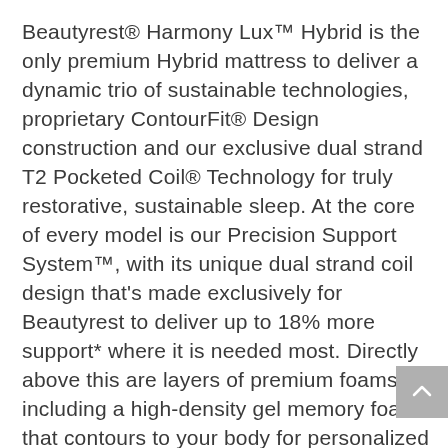Beautyrest® Harmony Lux™ Hybrid is the only premium Hybrid mattress to deliver a dynamic trio of sustainable technologies, proprietary ContourFit® Design construction and our exclusive dual strand T2 Pocketed Coil® Technology for truly restorative, sustainable sleep. At the core of every model is our Precision Support System™, with its unique dual strand coil design that's made exclusively for Beautyrest to deliver up to 18% more support* where it is needed most. Directly above this are layers of premium foams, including a high-density gel memory foam that contours to your body for personalized support and a premium memory foam featuring actual diamond particles to help conduct heat away from the body. To top it off, a suite of cooling technology layers will help you fall asleep and stay comfortable all